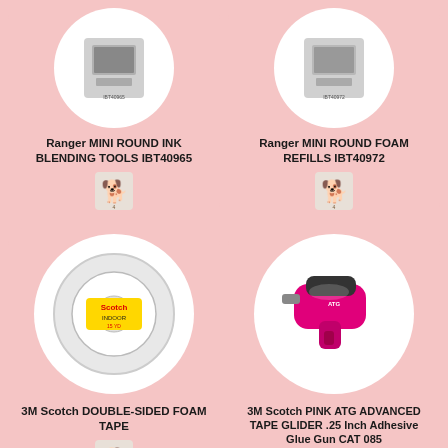[Figure (photo): Ranger MINI ROUND INK BLENDING TOOLS IBT40965 product card with circular white background showing product image and dog logo icon]
[Figure (photo): Ranger MINI ROUND FOAM REFILLS IBT40972 product card with circular white background showing product image and dog logo icon]
[Figure (photo): 3M Scotch DOUBLE-SIDED FOAM TAPE product card with circular white background showing product image and dog logo icon]
[Figure (photo): 3M Scotch PINK ATG ADVANCED TAPE GLIDER .25 Inch Adhesive Glue Gun CAT 085 product card with circular white background showing pink glue gun image and dog logo icon]
[Figure (photo): Partial product card at bottom left - partially visible]
[Figure (photo): Partial product card at bottom right - partially visible]